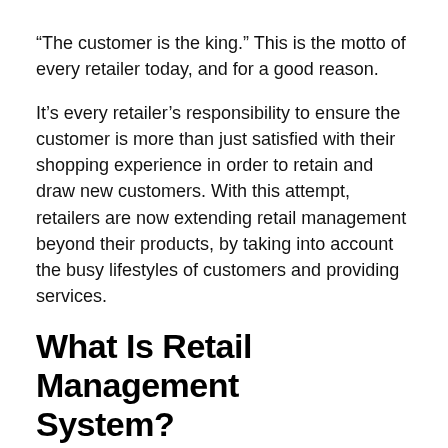“The customer is the king.” This is the motto of every retailer today, and for a good reason.
It’s every retailer’s responsibility to ensure the customer is more than just satisfied with their shopping experience in order to retain and draw new customers. With this attempt, retailers are now extending retail management beyond their products, by taking into account the busy lifestyles of customers and providing services.
What Is Retail Management System?
The process of amplifying sales and customer satisfaction through a better understanding of